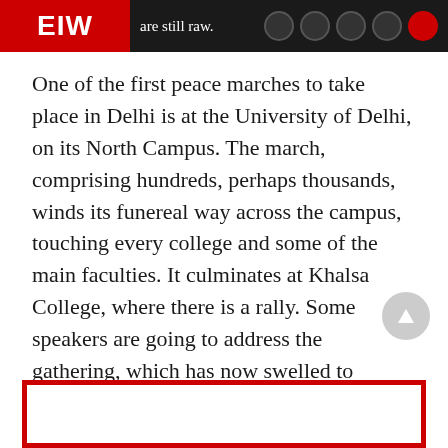are still raw.
One of the first peace marches to take place in Delhi is at the University of Delhi, on its North Campus. The march, comprising hundreds, perhaps thousands, winds its funereal way across the campus, touching every college and some of the main faculties. It culminates at Khalsa College, where there is a rally. Some speakers are going to address the gathering, which has now swelled to several thousands, as the students of the host college have joined in large numbers. Many of them are young men. They are angry, full of rage. Their eyes burn with pain and hatred and sadn… Talk of retribution is in the air.
[Figure (other): Red bordered box at bottom of page]